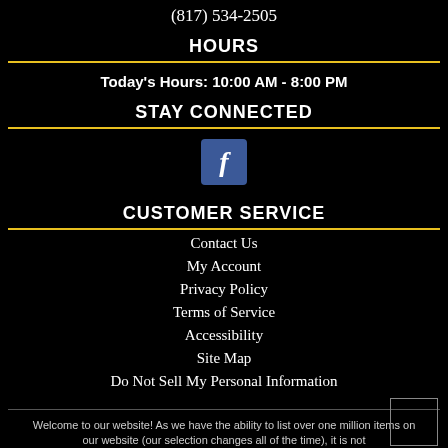(817) 534-2505
HOURS
Today's Hours: 10:00 AM - 8:00 PM
STAY CONNECTED
[Figure (logo): Facebook logo icon - blue square with white lowercase f]
CUSTOMER SERVICE
Contact Us
My Account
Privacy Policy
Terms of Service
Accessibility
Site Map
Do Not Sell My Personal Information
Welcome to our website! As we have the ability to list over one million items on our website (our selection changes all of the time), it is not